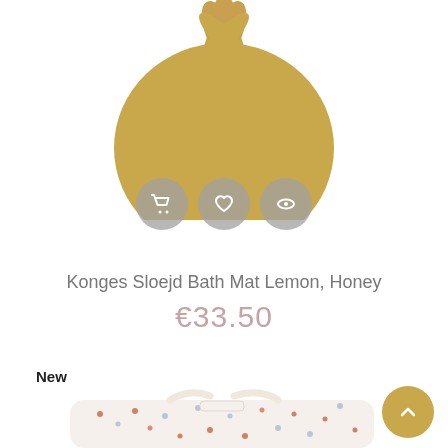[Figure (illustration): A golden/honey yellow lemon-shaped bath mat silhouette with leaf details at the top, viewed from above. Below the mat are three circular grey action buttons: a shopping cart icon, a heart icon, and an eye icon.]
Konges Sloejd Bath Mat Lemon, Honey
€33.50
New
[Figure (photo): A floral patterned duffle bag with cream/white base and small red, orange, and blue flowers, shown with handles and a white strap visible.]